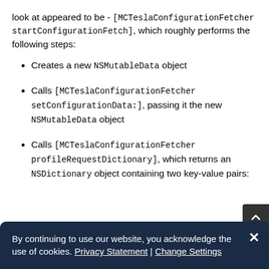look at appeared to be - [MCTeslaConfigurationFetcher startConfigurationFetch], which roughly performs the following steps:
Creates a new NSMutableData object
Calls [MCTeslaConfigurationFetcher setConfigurationData:], passing it the new NSMutableData object
Calls [MCTeslaConfigurationFetcher profileRequestDictionary], which returns an NSDictionary object containing two key-value pairs:
By continuing to use our website, you acknowledge the use of cookies. Privacy Statement | Change Settings